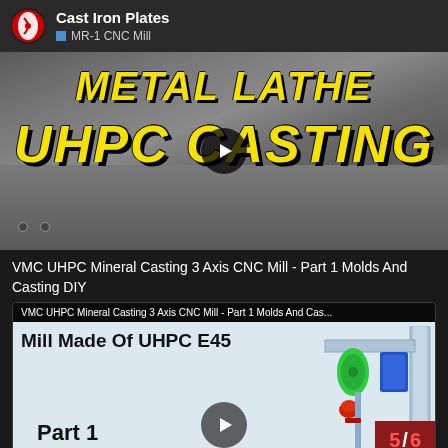Cast Iron Plates — MR-1 CNC Mill
[Figure (screenshot): Video thumbnail showing 'METAL LATHE UHPC CASTING' in large yellow italic text on dark background with play button]
VMC UHPC Mineral Casting 3 Axis CNC Mill - Part 1 Molds And Casting DIY
[Figure (screenshot): Video thumbnail for 'VMC UHPC Mineral Casting 3 Axis CNC Mill - Part 1 Molds And Casting DIY' showing a CNC mill 3D model with 'Mill Made Of UHPC E45' text, Part 1 label, play button, and 5/6 counter badge]